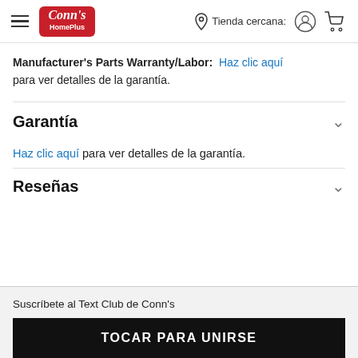Conn's HomePlus — Tienda cercana:
Manufacturer's Parts Warranty/Labor: Haz clic aquí para ver detalles de la garantía.
Garantía
Haz clic aquí para ver detalles de la garantía.
Reseñas
Suscríbete al Text Club de Conn's
TOCAR PARA UNIRSE